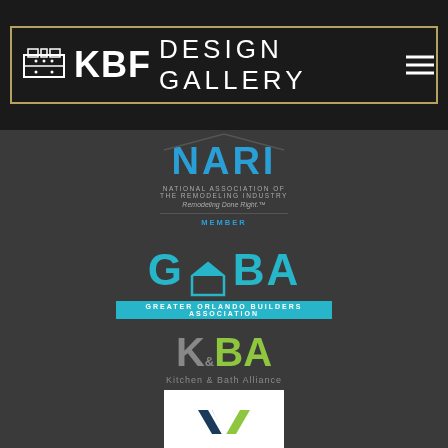[Figure (logo): KBF Design Gallery logo — white text on dark background with gold border]
[Figure (logo): NARI — National Association of the Remodeling Industry, Remodeling Done Right, Member badge in teal/blue]
[Figure (logo): GOBA — Greater Orlando Builders Association logo in teal with house icon]
[Figure (logo): K&BA — Kitchen & Bath Alliance logo in gray and green]
[Figure (logo): Winter Park Chamber of Commerce logo — W chevron in navy and green on white background]